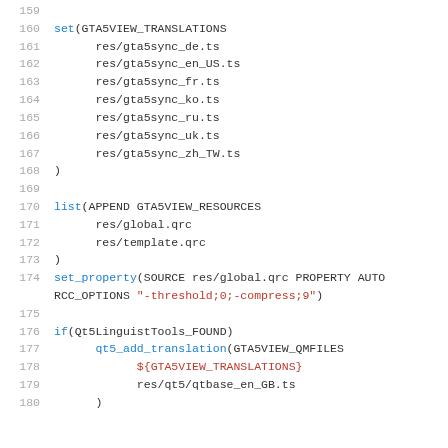[Figure (screenshot): Code editor screenshot showing CMake build script lines 159-180 with syntax highlighting. Blue keywords, red strings/variables, gray line numbers on white background.]